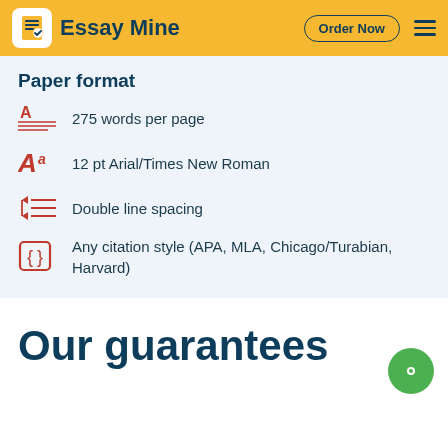Essay Mine  Order Now
Paper format
275 words per page
12 pt Arial/Times New Roman
Double line spacing
Any citation style (APA, MLA, Chicago/Turabian, Harvard)
Our guarantees